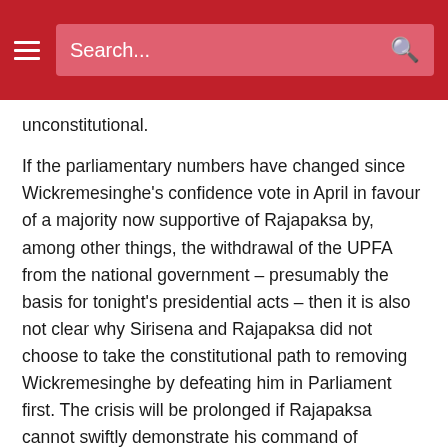Search...
unconstitutional.
If the parliamentary numbers have changed since Wickremesinghe's confidence vote in April in favour of a majority now supportive of Rajapaksa by, among other things, the withdrawal of the UPFA from the national government – presumably the basis for tonight's presidential acts – then it is also not clear why Sirisena and Rajapaksa did not choose to take the constitutional path to removing Wickremesinghe by defeating him in Parliament first. The crisis will be prolonged if Rajapaksa cannot swiftly demonstrate his command of Parliament, but the strategy he and Sirisena have followed tonight shows that they have chosen to seize the political initiative and momentum by the element of surprise, with the probable intention of consolidating their hold on the state machinery and in particular the police and armed forces over the